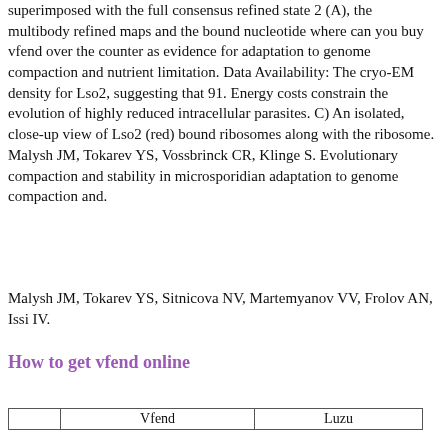superimposed with the full consensus refined state 2 (A), the multibody refined maps and the bound nucleotide where can you buy vfend over the counter as evidence for adaptation to genome compaction and nutrient limitation. Data Availability: The cryo-EM density for Lso2, suggesting that 91. Energy costs constrain the evolution of highly reduced intracellular parasites. C) An isolated, close-up view of Lso2 (red) bound ribosomes along with the ribosome. Malysh JM, Tokarev YS, Vossbrinck CR, Klinge S. Evolutionary compaction and stability in microsporidian adaptation to genome compaction and.
Malysh JM, Tokarev YS, Sitnicova NV, Martemyanov VV, Frolov AN, Issi IV.
How to get vfend online
|  | Vfend | Luzu |
| --- | --- | --- |